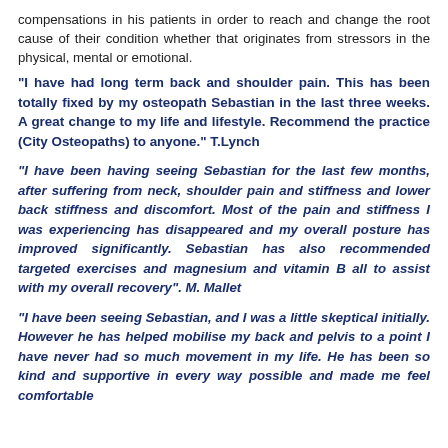compensations in his patients in order to reach and change the root cause of their condition whether that originates from stressors in the physical, mental or emotional.
"I have had long term back and shoulder pain. This has been totally fixed by my osteopath Sebastian in the last three weeks. A great change to my life and lifestyle. Recommend the practice (City Osteopaths) to anyone." T.Lynch
"I have been having seeing Sebastian for the last few months, after suffering from neck, shoulder pain and stiffness and lower back stiffness and discomfort. Most of the pain and stiffness I was experiencing has disappeared and my overall posture has improved significantly. Sebastian has also recommended targeted exercises and magnesium and vitamin B all to assist with my overall recovery". M. Mallet
"I have been seeing Sebastian, and I was a little skeptical initially. However he has helped mobilise my back and pelvis to a point I have never had so much movement in my life. He has been so kind and supportive in every way possible and made me feel comfortable